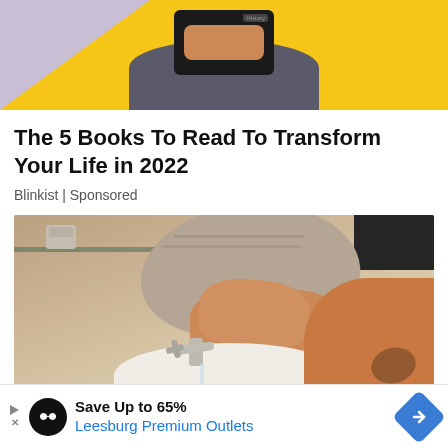[Figure (photo): Top cropped image showing a person in a dark jacket holding a phone in front of a yellow background]
The 5 Books To Read To Transform Your Life in 2022
Blinkist | Sponsored
[Figure (photo): Photo of a woman with a towel wrapped around her head leaning over a bathroom sink washing her face, with a faucet and sink visible]
Save Up to 65%
Leesburg Premium Outlets